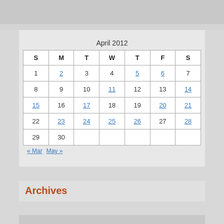April 2012
| S | M | T | W | T | F | S |
| --- | --- | --- | --- | --- | --- | --- |
| 1 | 2 | 3 | 4 | 5 | 6 | 7 |
| 8 | 9 | 10 | 11 | 12 | 13 | 14 |
| 15 | 16 | 17 | 18 | 19 | 20 | 21 |
| 22 | 23 | 24 | 25 | 26 | 27 | 28 |
| 29 | 30 |  |  |  |  |  |
« Mar   May »
Archives